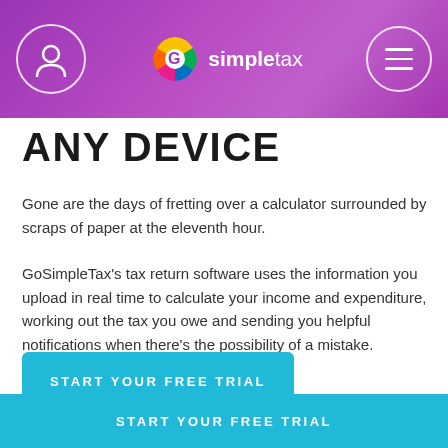GoSimpleTax — ANY DEVICE
ANY DEVICE
Gone are the days of fretting over a calculator surrounded by scraps of paper at the eleventh hour.
GoSimpleTax's tax return software uses the information you upload in real time to calculate your income and expenditure, working out the tax you owe and sending you helpful notifications when there's the possibility of a mistake.
START YOUR FREE TRIAL
START YOUR FREE TRIAL